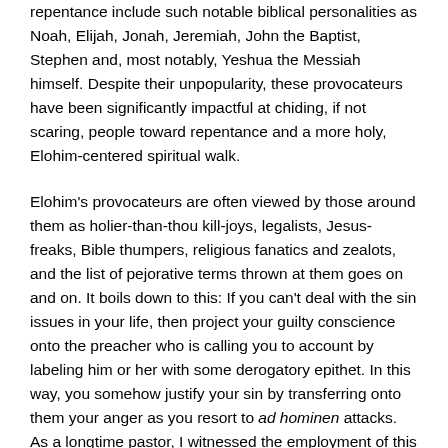repentance include such notable biblical personalities as Noah, Elijah, Jonah, Jeremiah, John the Baptist, Stephen and, most notably, Yeshua the Messiah himself. Despite their unpopularity, these provocateurs have been significantly impactful at chiding, if not scaring, people toward repentance and a more holy, Elohim-centered spiritual walk.
Elohim's provocateurs are often viewed by those around them as holier-than-thou kill-joys, legalists, Jesus-freaks, Bible thumpers, religious fanatics and zealots, and the list of pejorative terms thrown at them goes on and on. It boils down to this: If you can't deal with the sin issues in your life, then project your guilty conscience onto the preacher who is calling you to account by labeling him or her with some derogatory epithet. In this way, you somehow justify your sin by transferring onto them your anger as you resort to ad hominen attacks. As a longtime pastor, I witnessed the employment of this tactic countless times by disgruntled congregants. If they could not argue against the biblical Truth you were preaching, then they would attack you personally by criticizing your style of